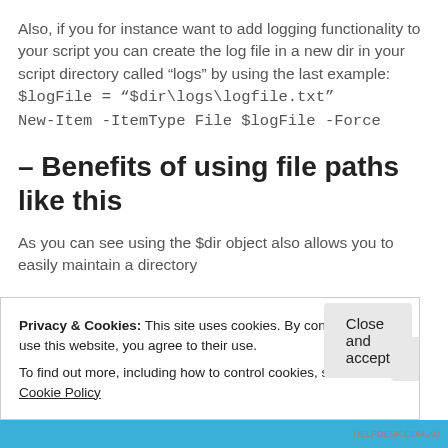Also, if you for instance want to add logging functionality to your script you can create the log file in a new dir in your script directory called “logs” by using the last example:
$logFile = “$dir\logs\logfile.txt”
New-Item -ItemType File $logFile -Force
– Benefits of using file paths like this
As you can see using the $dir object also allows you to easily maintain a directory
Privacy & Cookies: This site uses cookies. By continuing to use this website, you agree to their use.
To find out more, including how to control cookies, see here: Cookie Policy
Close and accept